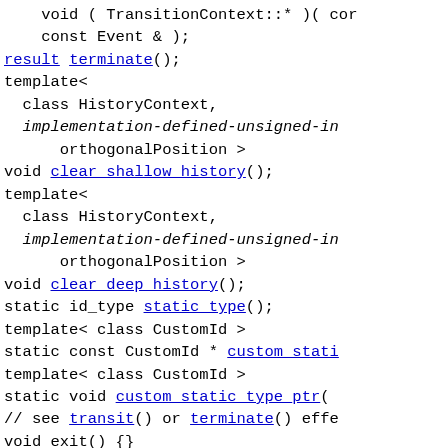void ( TransitionContext::* )( cor
  const Event & );
result terminate();

template<
  class HistoryContext,
  implementation-defined-unsigned-ir
      orthogonalPosition >
void clear_shallow_history();
template<
  class HistoryContext,
  implementation-defined-unsigned-ir
      orthogonalPosition >
void clear_deep_history();

static id_type static_type();

template< class CustomId >
static const CustomId * custom_stati

template< class CustomId >
static void custom_static_type_ptr(

// see transit() or terminate() effe
void exit() {}